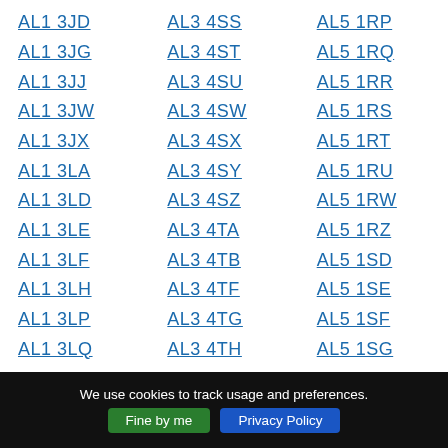AL1 3JD
AL3 4SS
AL5 1RP
AL1 3JG
AL3 4ST
AL5 1RQ
AL1 3JJ
AL3 4SU
AL5 1RR
AL1 3JW
AL3 4SW
AL5 1RS
AL1 3JX
AL3 4SX
AL5 1RT
AL1 3LA
AL3 4SY
AL5 1RU
AL1 3LD
AL3 4SZ
AL5 1RW
AL1 3LE
AL3 4TA
AL5 1RZ
AL1 3LF
AL3 4TB
AL5 1SD
AL1 3LH
AL3 4TF
AL5 1SE
AL1 3LP
AL3 4TG
AL5 1SF
AL1 3LQ
AL3 4TH
AL5 1SG
We use cookies to track usage and preferences. Fine by me  Privacy Policy